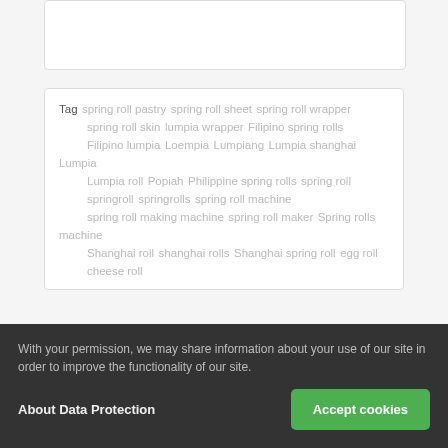Tag  spring roll pastry  spring roll sheet  spring roll wrapper  spring roll skin  lumpia wrapper  Filipino spring rolls  Filipino lumpia  Loempia  Lumpiang  Lumpia shanghai  Lumpia  Lumpia roll  Popiah  Philippine spring rolls  spring roll  springroll  springrolls  spring roll machine  spring roll making machine  spring roll maker  Spring rolls machine  Shanghai roll  shanghai rolls  Shanghai spring roll  egg roll  cheese roll
With your permission, we may share information about your use of our site in order to improve the functionality of our site.
About Data Protection
Accept cookies